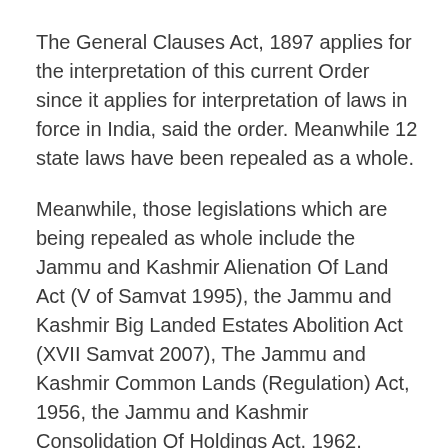The General Clauses Act, 1897 applies for the interpretation of this current Order since it applies for interpretation of laws in force in India, said the order. Meanwhile 12 state laws have been repealed as a whole.
Meanwhile, those legislations which are being repealed as whole include the Jammu and Kashmir Alienation Of Land Act (V of Samvat 1995), the Jammu and Kashmir Big Landed Estates Abolition Act (XVII Samvat 2007), The Jammu and Kashmir Common Lands (Regulation) Act, 1956, the Jammu and Kashmir Consolidation Of Holdings Act, 1962, among others.
(This story has been published from a wire agency feed